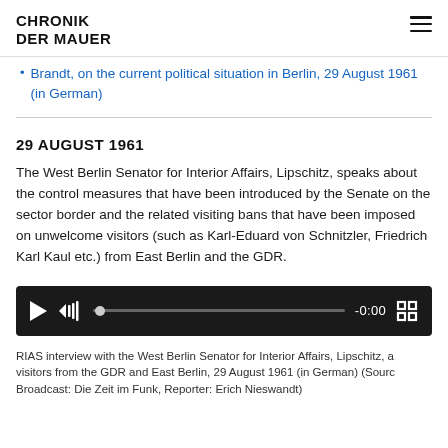CHRONIK DER MAUER
Brandt, on the current political situation in Berlin, 29 August 1961 (in German)
29 AUGUST 1961
The West Berlin Senator for Interior Affairs, Lipschitz, speaks about the control measures that have been introduced by the Senate on the sector border and the related visiting bans that have been imposed on unwelcome visitors (such as Karl-Eduard von Schnitzler, Friedrich Karl Kaul etc.) from East Berlin and the GDR.
[Figure (other): Audio player with play button, volume icon, progress bar showing -0:00, and fullscreen icon on dark background]
RIAS interview with the West Berlin Senator for Interior Affairs, Lipschitz, a visitors from the GDR and East Berlin, 29 August 1961 (in German) (Sourc Broadcast: Die Zeit im Funk, Reporter: Erich Nieswandt)